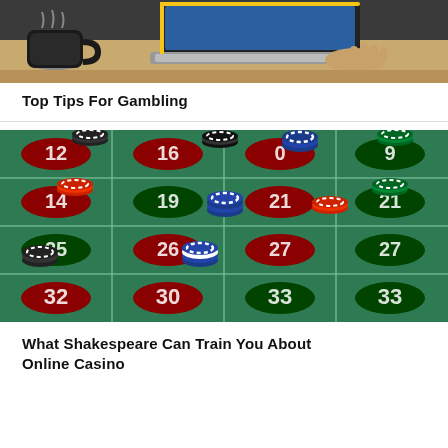[Figure (photo): Photo of a person using a laptop with a coffee cup on a wooden desk — online gambling context]
Top Tips For Gambling
[Figure (photo): Photo of a roulette table with casino chips — red, black, white, green, and blue chips scattered on a green felt table showing numbers 16, 19, 21, 26, 27, 30, 32, 33]
What Shakespeare Can Train You About Online Casino